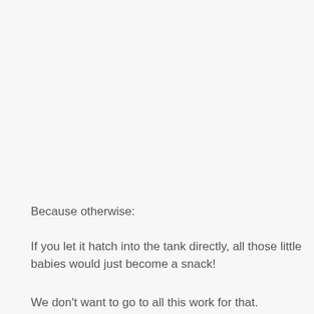Because otherwise:
If you let it hatch into the tank directly, all those little babies would just become a snack!
We don't want to go to all this work for that.
So in most cases you will need to move the clutch.
How do you move it?
The way that does the least damage is usually gently